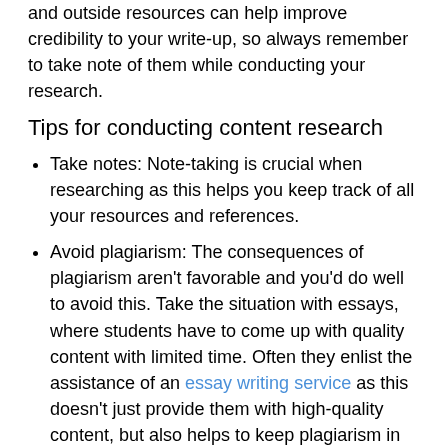and outside resources can help improve credibility to your write-up, so always remember to take note of them while conducting your research.
Tips for conducting content research
Take notes: Note-taking is crucial when researching as this helps you keep track of all your resources and references.
Avoid plagiarism: The consequences of plagiarism aren't favorable and you'd do well to avoid this. Take the situation with essays, where students have to come up with quality content with limited time. Often they enlist the assistance of an essay writing service as this doesn't just provide them with high-quality content, but also helps to keep plagiarism in check. Due to time constraints and the need for quality, students often make mistakes and fall prey to plagiarism. It is a good idea to